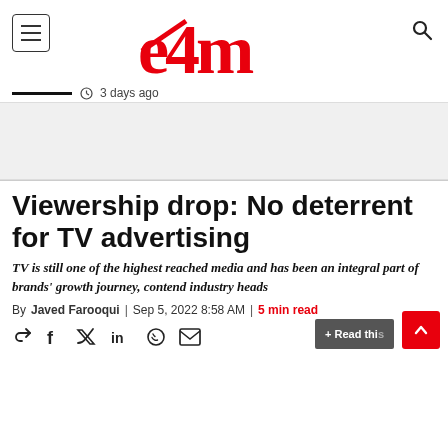e4m
3 days ago
Viewership drop: No deterrent for TV advertising
TV is still one of the highest reached media and has been an integral part of brands' growth journey, contend industry heads
By Javed Farooqui | Sep 5, 2022 8:58 AM | 5 min read